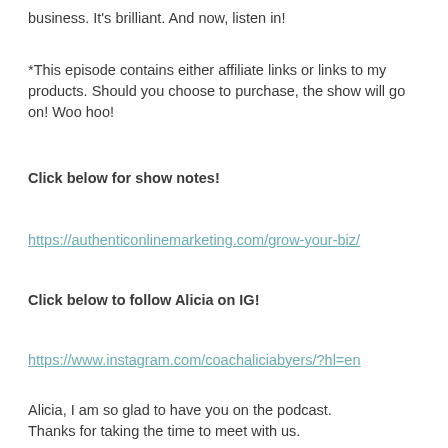business.  It's brilliant.  And now, listen in!
*This episode contains either affiliate links or links to my products. Should you choose to purchase, the show will go on! Woo hoo!
Click below for show notes!
https://authenticonlinemarketing.com/grow-your-biz/
Click below to follow Alicia on IG!
https://www.instagram.com/coachaliciabyers/?hl=en
Alicia, I am so glad to have you on the podcast. Thanks for taking the time to meet with us.